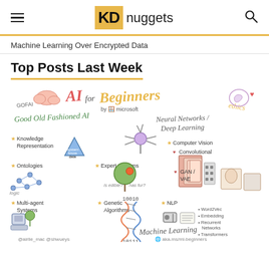KDnuggets
Machine Learning Over Encrypted Data
Top Posts Last Week
[Figure (illustration): Hand-drawn sketchnote illustration titled 'AI for Beginners by Microsoft' covering topics: Good Old Fashioned AI (GOFAI), Knowledge Representation, Ontologies, Expert Systems, Multi-agent Systems, Genetic Algorithms, Neural Networks / Deep Learning, Computer Vision, Convolutional networks, GAN/VAE, NLP (Word2Vec, Embedding, Recurrent Networks, Transformers), Machine Learning, ethics. Attribution: @airlie_mac @shwueys, aka.ms/ml-beginners]